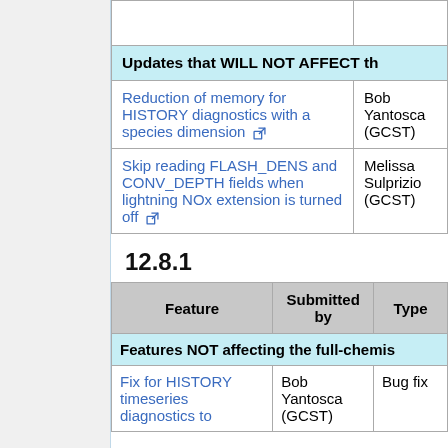| Feature | Submitted by |
| --- | --- |
| Updates that WILL NOT AFFECT th… |  |
| Reduction of memory for HISTORY diagnostics with a species dimension [ext] | Bob Yantosca (GCST) |
| Skip reading FLASH_DENS and CONV_DEPTH fields when lightning NOx extension is turned off [ext] | Melissa Sulprizio (GCST) |
12.8.1
| Feature | Submitted by | Type |
| --- | --- | --- |
| Features NOT affecting the full-chemis… |  |  |
| Fix for HISTORY timeseries diagnostics to… | Bob Yantosca (GCST) | Bug fix |